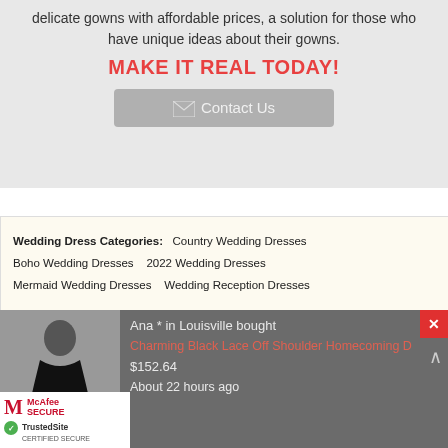delicate gowns with affordable prices, a solution for those who have unique ideas about their gowns.
MAKE IT REAL TODAY!
Contact Us
Wedding Dress Categories: Country Wedding Dresses Boho Wedding Dresses 2022 Wedding Dresses Mermaid Wedding Dresses Wedding Reception Dresses
[Figure (screenshot): Popup notification showing Ana * in Louisville bought Charming Black Lace Off Shoulder Homecoming D for $152.64 about 22 hours ago, with product image of black dress and close button]
Wedding Dresses with Long Sleeves
Wedding Dresses  Ivory Short Wedding Dresses
[Figure (logo): McAfee SECURE and TrustedSite CERTIFIED SECURE badges]